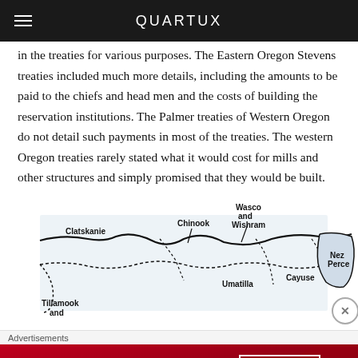QUARTUX
in the treaties for various purposes. The Eastern Oregon Stevens treaties included much more details, including the amounts to be paid to the chiefs and head men and the costs of building the reservation institutions. The Palmer treaties of Western Oregon do not detail such payments in most of the treaties. The western Oregon treaties rarely stated what it would cost for mills and other structures and simply promised that they would be built.
[Figure (map): Map showing tribal territories in Oregon and surrounding region, including labeled groups: Clatskanie, Chinook, Wasco and Wishram, Nez Perce, Cayuse, Umatilla, Tillamook and (cut off). Solid and dotted boundary lines indicate different treaty areas.]
Advertisements
[Figure (photo): Macy's advertisement banner: 'KISS BORING LIPS GOODBYE' with SHOP NOW button and Macy's star logo, featuring a woman's face with red lips.]